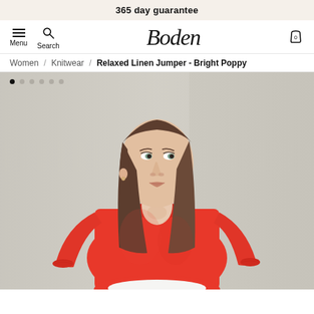365 day guarantee
[Figure (screenshot): Boden website navigation bar with hamburger menu, search icon, Boden script logo, and shopping bag icon showing 0 items]
Women / Knitwear / Relaxed Linen Jumper - Bright Poppy
[Figure (photo): Female model wearing a bright poppy red/coral relaxed linen jumper with 3/4 sleeves and ribbed collar, standing against a light grey/beige wall background. Model has long brown hair.]